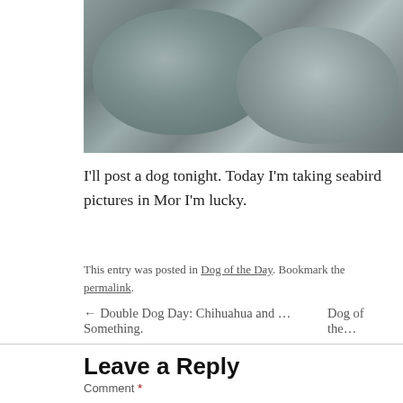[Figure (photo): Close-up photograph of rocks/stones with grey and blue-grey tones, partially cropped at top of page]
I'll post a dog tonight. Today I'm taking seabird pictures in Mo... I'm lucky.
This entry was posted in Dog of the Day. Bookmark the permalink.
← Double Dog Day: Chihuahua and … Something.    Dog of the...
Leave a Reply
Your email address will not be published. Required fields are m...
Comment *